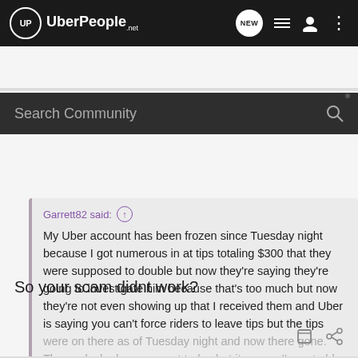UberPeople.net
Search Community
Garrett82 said: ↑
My Uber account has been frozen since Tuesday night because I got numerous in at tips totaling $300 that they were supposed to double but now they're saying they're going to investigate him because that's too much but now they're not even showing up that I received them and Uber is saying you can't force riders to leave tips but the tips were on there as of Tuesday night and now there gone. They unlocked my account today but it seems I'm not able to pick anyone
Click to expand...
So your scam didnt work?